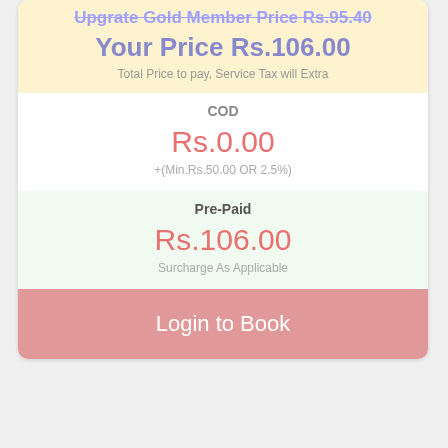Upgrate Gold Member Price Rs.95.40
Your Price Rs.106.00
Total Price to pay, Service Tax will Extra
COD
Rs.0.00
+(Min.Rs.50.00 OR 2.5%)
Pre-Paid
Rs.106.00
Surcharge As Applicable
Login to Book